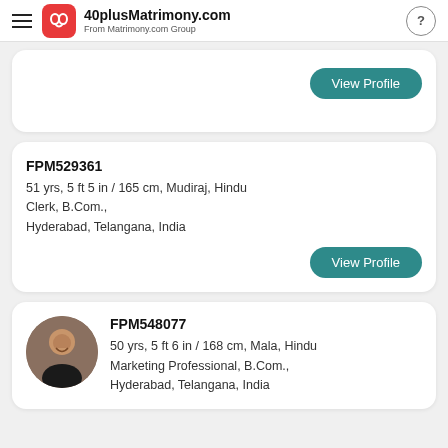40plusMatrimony.com From Matrimony.com Group
View Profile
FPM529361
51 yrs, 5 ft 5 in / 165 cm, Mudiraj, Hindu Clerk, B.Com., Hyderabad, Telangana, India
View Profile
FPM548077
50 yrs, 5 ft 6 in / 168 cm, Mala, Hindu Marketing Professional, B.Com., Hyderabad, Telangana, India